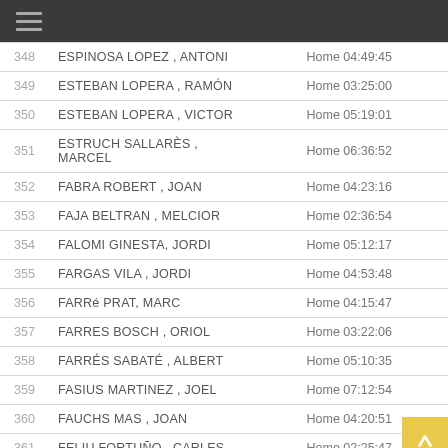| # | Name | Category Time |
| --- | --- | --- |
| 348 | ESPINOSA LOPEZ , ANTONI | Home 04:49:45 |
| 349 | ESTEBAN LOPERA , RAMÓN | Home 03:25:00 |
| 350 | ESTEBAN LOPERA , VICTOR | Home 05:19:01 |
| 351 | ESTRUCH SALLARÈS , MARCEL | Home 06:36:52 |
| 352 | FABRA ROBERT , JOAN | Home 04:23:16 |
| 353 | FAJA BELTRAN , MELCIOR | Home 02:36:54 |
| 354 | FALOMI GINESTA, JORDI | Home 05:12:17 |
| 355 | FARGAS VILA , JORDI | Home 04:53:48 |
| 356 | FARRé PRAT, MARC | Home 04:15:47 |
| 357 | FARRES BOSCH , ORIOL | Home 03:22:06 |
| 358 | FARRÉS SABATÉ , ALBERT | Home 05:10:35 |
| 359 | FASIUS MARTINEZ , JOEL | Home 07:12:54 |
| 360 | FAUCHS MAS , JOAN | Home 04:20:51 |
| 361 | FELIU FORTUÑO , CARLES | Home 02:25:47 |